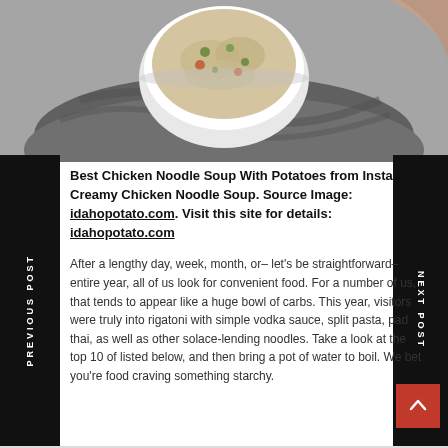[Figure (photo): Top-down view of a white bowl of creamy chicken noodle soup with herbs, held over a gray cloth napkin, black and white photo background]
Best Chicken Noodle Soup With Potatoes from Instant Pot Creamy Chicken Noodle Soup. Source Image: idahopotato.com. Visit this site for details: idahopotato.com
After a lengthy day, week, month, or– let's be straightforward– entire year, all of us look for convenient food. For a number of us, that tends to appear like a huge bowl of carbs. This year, visitors were truly into rigatoni with simple vodka sauce, split pasta, pad thai, as well as other solace-lending noodles. Take a look at the top 10 of listed below, and then bring a pot of water to boil. We bet you're food craving something starchy.